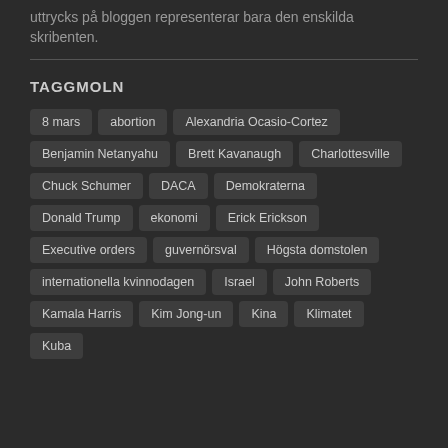uttrycks på bloggen representerar bara den enskilda skribenten.
TAGGMOLN
8 mars
abortion
Alexandria Ocasio-Cortez
Benjamin Netanyahu
Brett Kavanaugh
Charlottesville
Chuck Schumer
DACA
Demokraterna
Donald Trump
ekonomi
Erick Erickson
Executive orders
guvernörsval
Högsta domstolen
internationella kvinnodagen
Israel
John Roberts
Kamala Harris
Kim Jong-un
Kina
Klimatet
Kuba